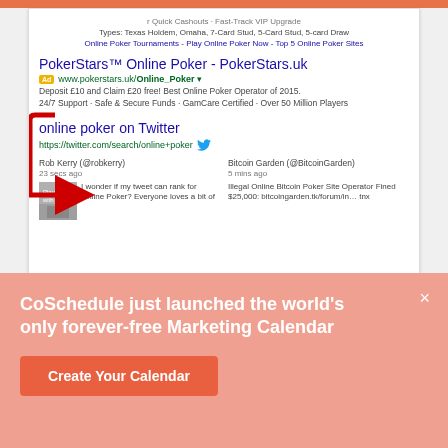[Figure (screenshot): Google search results screenshot showing PokerStars ad result and online poker on Twitter result with a red arrow pointing to the Twitter result. Includes tweet previews from Rob Kerry (@robkerry) and Bitcoin Garden (@BitcoinGarden).]
CoSchedule just launched the world's only forever-free Marketing Calendar
Create Your Calendar